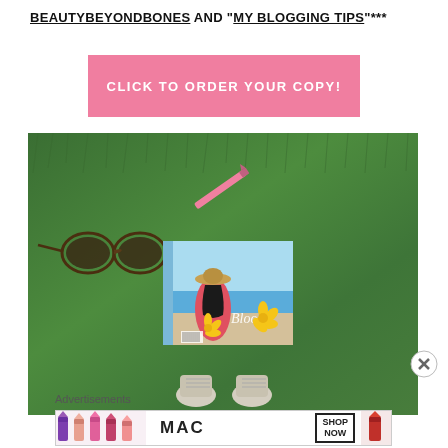BEAUTYBEYONDBONES AND "MY BLOGGING TIPS"***
CLICK TO ORDER YOUR COPY!
[Figure (photo): A book titled 'Bloom' lying on green grass, surrounded by sunglasses, yellow flowers, a pink lipstick, and a person's shoes visible at the bottom]
Advertisements
[Figure (screenshot): MAC Cosmetics advertisement banner showing colorful lipsticks and a SHOP NOW button]